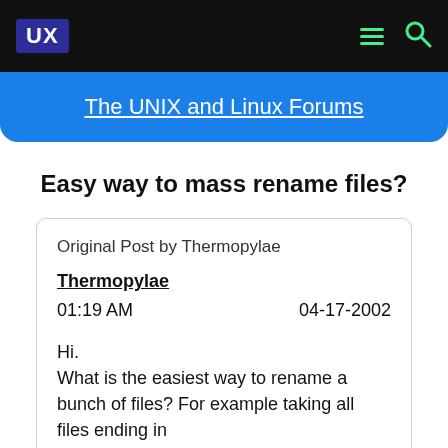UX | The UNIX and Linux Forums
Easy way to mass rename files?
Original Post by Thermopylae
Thermopylae
01:19 AM    04-17-2002
Hi.
What is the easiest way to rename a bunch of files? For example taking all files ending in